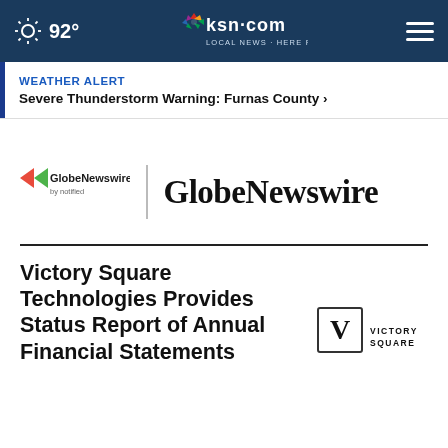92° | ksn.com LOCAL NEWS · HERE FOR YOU
WEATHER ALERT
Severe Thunderstorm Warning: Furnas County >
[Figure (logo): GlobeNewswire by notified logo with colored arrow and text, followed by vertical divider and large GlobeNewswire text]
Victory Square Technologies Provides Status Report of Annual Financial Statements
[Figure (logo): Victory Square logo: square with V inside and text VICTORY SQUARE to the right]